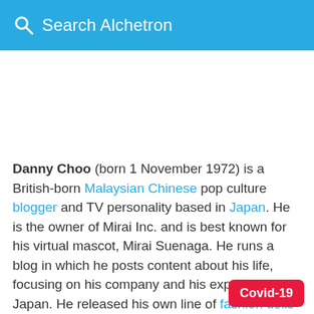Search Alchetron
Danny Choo (born 1 November 1972) is a British-born Malaysian Chinese pop culture blogger and TV personality based in Japan. He is the owner of Mirai Inc. and is best known for his virtual mascot, Mirai Suenaga. He runs a blog in which he posts content about his life, focusing on his company and his experiences in Japan. He released his own line of fashion dolls in 2014.
Covid-19